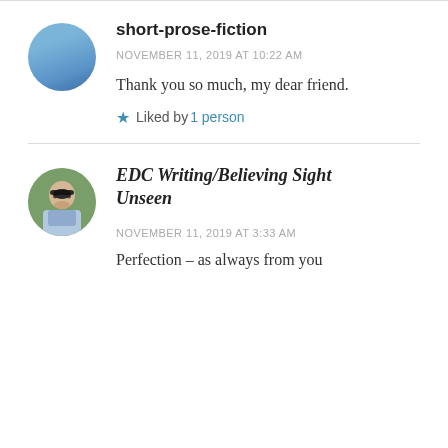short-prose-fiction
NOVEMBER 11, 2019 AT 10:22 AM
Thank you so much, my dear friend.
★ Liked by 1 person
EDC Writing/Believing Sight Unseen
NOVEMBER 11, 2019 AT 3:33 AM
Perfection – as always from you